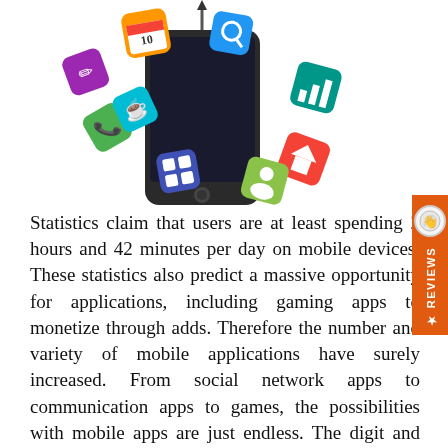[Figure (illustration): A smartphone with colorful 3D application icons flying out of the screen — including social, gaming, productivity, calendar, photo, and other app icons in various bright colors.]
Statistics claim that users are at least spending 2 hours and 42 minutes per day on mobile devices. These statistics also predict a massive opportunity for applications, including gaming apps to monetize through adds. Therefore the number and variety of mobile applications have surely increased. From social network apps to communication apps to games, the possibilities with mobile apps are just endless. The digit and diversity of mobile apps can be overwhelming at times. The many different categories include networking, productivity,news, and more. Thus makes it challenging to figure out which apps are right for you. Are you on